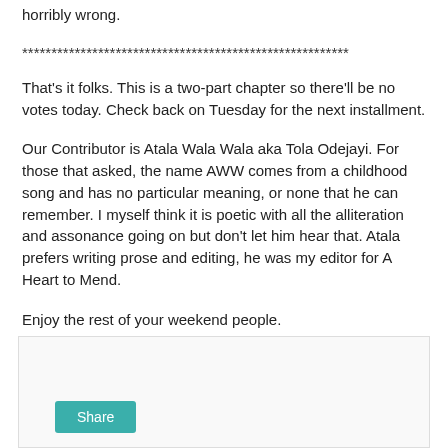horribly wrong.
********************************************************
That's it folks. This is a two-part chapter so there'll be no votes today. Check back on Tuesday for the next installment.
Our Contributor is Atala Wala Wala aka Tola Odejayi. For those that asked, the name AWW comes from a childhood song and has no particular meaning, or none that he can remember. I myself think it is poetic with all the alliteration and assonance going on but don't let him hear that. Atala prefers writing prose and editing, he was my editor for A Heart to Mend.
Enjoy the rest of your weekend people.